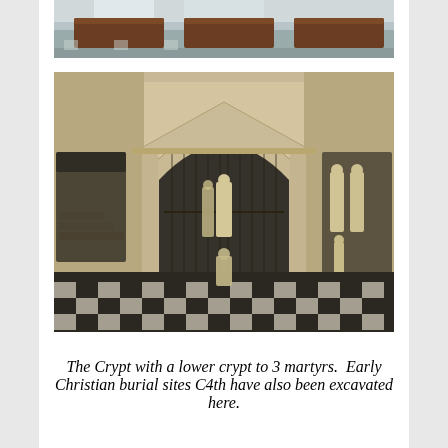[Figure (photo): Top partial photo showing interior of a church with wooden pews/benches visible, cropped at top of page]
[Figure (photo): Interior of a crypt with stone arched architecture, ornate iron gates with fan/sunburst design, marble statues in niches, and a checkered black and white marble floor. Shows a lower crypt area dedicated to 3 martyrs.]
The Crypt with a lower crypt to 3 martyrs.  Early Christian burial sites C4th have also been excavated here.